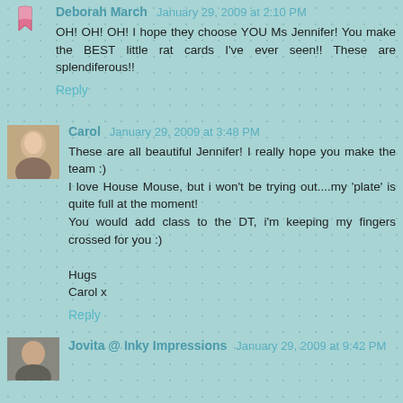Deborah March January 29, 2009 at 2:10 PM
OH! OH! OH! I hope they choose YOU Ms Jennifer! You make the BEST little rat cards I've ever seen!! These are splendiferous!!
Reply
Carol January 29, 2009 at 3:48 PM
These are all beautiful Jennifer! I really hope you make the team :)
I love House Mouse, but i won't be trying out....my 'plate' is quite full at the moment!
You would add class to the DT, i'm keeping my fingers crossed for you :)

Hugs
Carol x
Reply
Jovita @ Inky Impressions January 29, 2009 at 9:42 PM